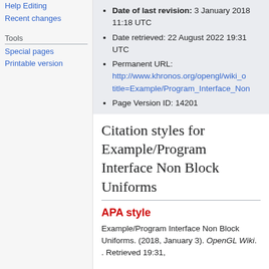Help Editing
Recent changes
Tools
Special pages
Printable version
Date of last revision: 3 January 2018 11:18 UTC
Date retrieved: 22 August 2022 19:31 UTC
Permanent URL: http://www.khronos.org/opengl/wiki_o...title=Example/Program_Interface_Non...
Page Version ID: 14201
Citation styles for Example/Program Interface Non Block Uniforms
APA style
Example/Program Interface Non Block Uniforms. (2018, January 3). OpenGL Wiki. . Retrieved 19:31,